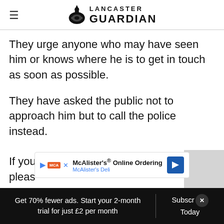Lancaster Guardian
They urge anyone who may have seen him or knows where he is to get in touch as soon as possible.
They have asked the public not to approach him but to call the police instead.
If you... (partially obscured) ...ine, pleas...
[Figure (screenshot): McAlister's Online Ordering advertisement banner from McAlister's Deli with logo, text and blue arrow icon]
Get 70% fewer ads. Start your 2-month trial for just £2 per month   Subscribe Today